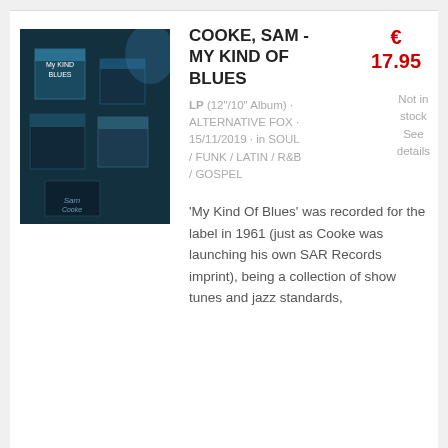[Figure (photo): Album cover for 'My Kind of Blues' by Sam Cooke, showing stacked cube/box arrangement with dark teal/blue background]
COOKE, SAM - MY KIND OF BLUES
€ 17.95
LP (12"/10" Album) · ALTERNATIVE FOX · 15/11/2019 · in SOUL / FUNK / LATIN / R&B / GOSPEL
Not in stock
See details
'My Kind Of Blues' was recorded for the label in 1961 (just as Cooke was launching his own SAR Records imprint), being a collection of show tunes and jazz standards,